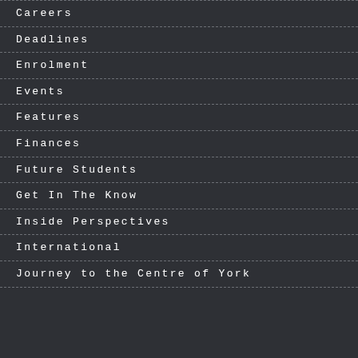Careers
Deadlines
Enrolment
Events
Features
Finances
Future Students
Get In The Know
Inside Perspectives
International
Journey to the Centre of York